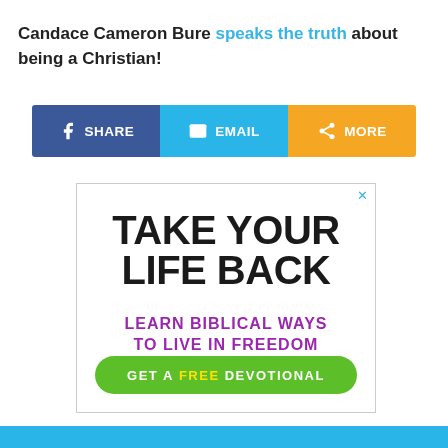Candace Cameron Bure speaks the truth about being a Christian!
[Figure (infographic): Social share bar with three buttons: Facebook SHARE (blue), EMAIL (light blue), MORE (orange/yellow)]
[Figure (infographic): Advertisement box: TAKE YOUR LIFE BACK / LEARN BIBLICAL WAYS TO LIVE IN FREEDOM / GET A FREE DEVOTIONAL button]